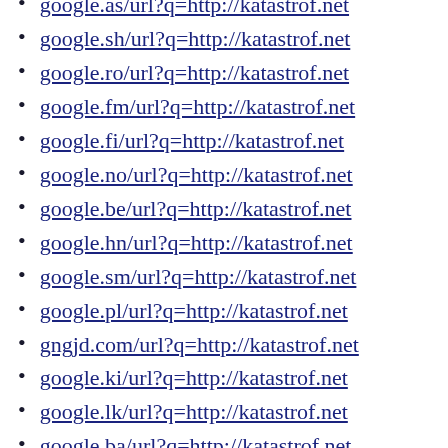google.as/url?q=http://katastrof.net
google.sh/url?q=http://katastrof.net
google.ro/url?q=http://katastrof.net
google.fm/url?q=http://katastrof.net
google.fi/url?q=http://katastrof.net
google.no/url?q=http://katastrof.net
google.be/url?q=http://katastrof.net
google.hn/url?q=http://katastrof.net
google.sm/url?q=http://katastrof.net
google.pl/url?q=http://katastrof.net
gngjd.com/url?q=http://katastrof.net
google.ki/url?q=http://katastrof.net
google.lk/url?q=http://katastrof.net
google.ba/url?q=http://katastrof.net
google.us/url?q=http://katastrof.net
google.gm/url?q=http://katastrof.net
securityheaders.com/?q=katastrof.net
google.gr/url?q=http://katastrof.net